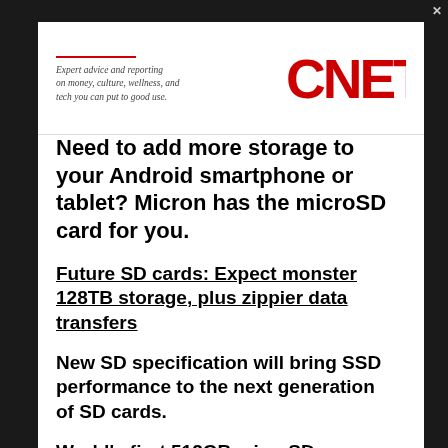[Figure (logo): CNET advertisement banner with tagline text and red CNET logo]
Need to add more storage to your Android smartphone or tablet? Micron has the microSD card for you.
Future SD cards: Expect monster 128TB storage, plus zippier data transfers
New SD specification will bring SSD performance to the next generation of SD cards.
World's first 512GB microSD: Monster .5TB storage comes to smartphones
UK company Integral Memory has just